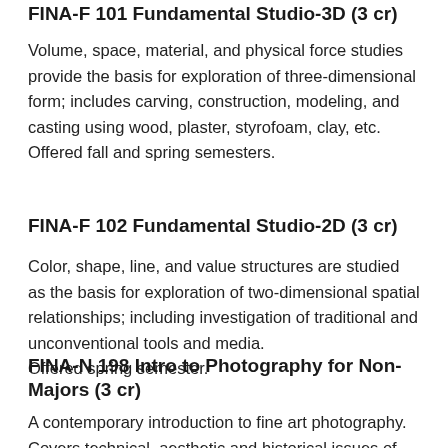FINA-F 101 Fundamental Studio-3D (3 cr)
Volume, space, material, and physical force studies provide the basis for exploration of three-dimensional form; includes carving, construction, modeling, and casting using wood, plaster, styrofoam, clay, etc. Offered fall and spring semesters.
FINA-F 102 Fundamental Studio-2D (3 cr)
Color, shape, line, and value structures are studied as the basis for exploration of two-dimensional spatial relationships; including investigation of traditional and unconventional tools and media.
Offered spring semester.
FINA-N 198 Intro to Photography for Non-Majors (3 cr)
A contemporary introduction to fine art photography. Covers technical, aesthetic and historical issues of